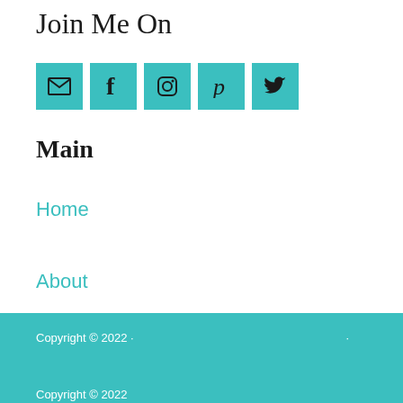Join Me On
[Figure (infographic): Five teal square social media icon buttons: email (envelope), Facebook (f), Instagram (camera), Pinterest (p), Twitter (bird)]
Main
Home
About
Contact
Copyright © 2022 ·  ·
Copyright © 2022